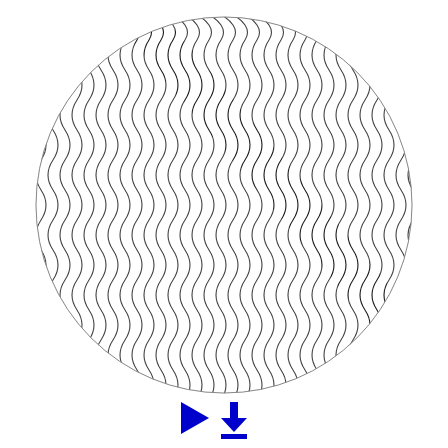[Figure (other): A circular illustration filled with dense wavy black-and-white undulating lines creating a moiré-like optical illusion pattern. The lines curve sinusoidally and create the impression of a three-dimensional rippling surface. Several diagonal lighter bands cross the circle from lower-left to upper-right, adding depth to the optical effect.]
[Figure (other): Two blue icons at the bottom center: a solid blue right-pointing play triangle on the left, and a solid blue download icon (arrow pointing down to a horizontal bar) on the right.]